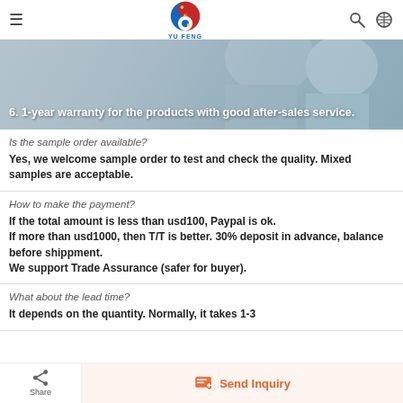YU FENG
[Figure (photo): Background photo of business people, with text overlay: 6. 1-year warranty for the products with good after-sales service.]
Is the sample order available?
Yes, we welcome sample order to test and check the quality. Mixed samples are acceptable.
How to make the payment?
If the total amount is less than usd100, Paypal is ok.
If more than usd1000, then T/T is better. 30% deposit in advance, balance before shippment.
We support Trade Assurance (safer for buyer).
What about the lead time?
It depends on the quantity. Normally, it takes 1-3
Share | Send Inquiry